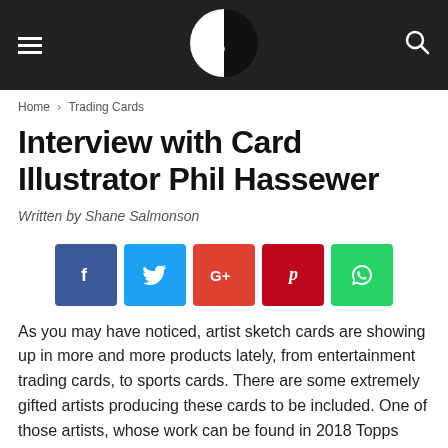BU [logo] — navigation header with hamburger menu and search icon
Home › Trading Cards
Interview with Card Illustrator Phil Hassewer
Written by Shane Salmonson
[Figure (infographic): Social sharing buttons: Facebook (blue), Twitter (light blue), Google+ (red/orange), Pinterest (dark red), WhatsApp (green)]
As you may have noticed, artist sketch cards are showing up in more and more products lately, from entertainment trading cards, to sports cards. There are some extremely gifted artists producing these cards to be included. One of those artists, whose work can be found in 2018 Topps Museum Collection